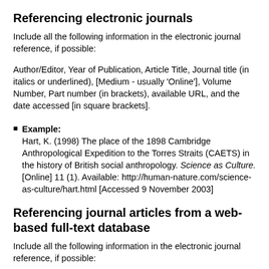Referencing electronic journals
Include all the following information in the electronic journal reference, if possible:
Author/Editor, Year of Publication, Article Title, Journal title (in italics or underlined), [Medium - usually 'Online'], Volume Number, Part number (in brackets), available URL, and the date accessed [in square brackets].
Example: Hart, K. (1998) The place of the 1898 Cambridge Anthropological Expedition to the Torres Straits (CAETS) in the history of British social anthropology. Science as Culture. [Online] 11 (1). Available: http://human-nature.com/science-as-culture/hart.html [Accessed 9 November 2003]
Referencing journal articles from a web-based full-text database
Include all the following information in the electronic journal reference, if possible: